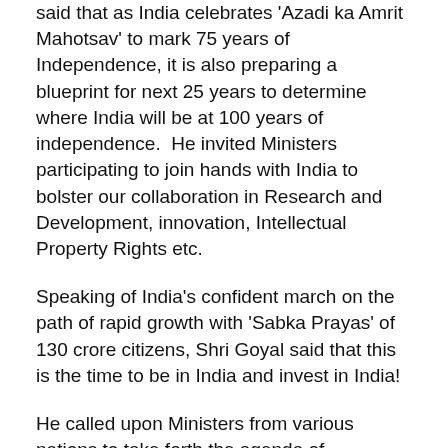said that as India celebrates 'Azadi ka Amrit Mahotsav' to mark 75 years of Independence, it is also preparing a blueprint for next 25 years to determine where India will be at 100 years of independence.  He invited Ministers participating to join hands with India to bolster our collaboration in Research and Development, innovation, Intellectual Property Rights etc.
Speaking of India's confident march on the path of rapid growth with 'Sabka Prayas' of 130 crore citizens, Shri Goyal said that this is the time to be in India and invest in India!
He called upon Ministers from various nations to take forth the agenda of strengthening partnerships between India and the world and re-stabilize and revitalize economies in the post